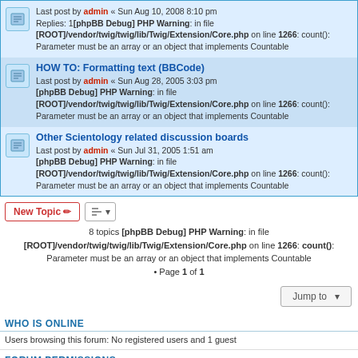Last post by admin « Sun Aug 10, 2008 8:10 pm
Replies: 1[phpBB Debug] PHP Warning: in file [ROOT]/vendor/twig/twig/lib/Twig/Extension/Core.php on line 1266: count(): Parameter must be an array or an object that implements Countable
HOW TO: Formatting text (BBCode)
Last post by admin « Sun Aug 28, 2005 3:03 pm
[phpBB Debug] PHP Warning: in file [ROOT]/vendor/twig/twig/lib/Twig/Extension/Core.php on line 1266: count(): Parameter must be an array or an object that implements Countable
Other Scientology related discussion boards
Last post by admin « Sun Jul 31, 2005 1:51 am
[phpBB Debug] PHP Warning: in file [ROOT]/vendor/twig/twig/lib/Twig/Extension/Core.php on line 1266: count(): Parameter must be an array or an object that implements Countable
8 topics [phpBB Debug] PHP Warning: in file [ROOT]/vendor/twig/twig/lib/Twig/Extension/Core.php on line 1266: count(): Parameter must be an array or an object that implements Countable
• Page 1 of 1
WHO IS ONLINE
Users browsing this forum: No registered users and 1 guest
FORUM PERMISSIONS